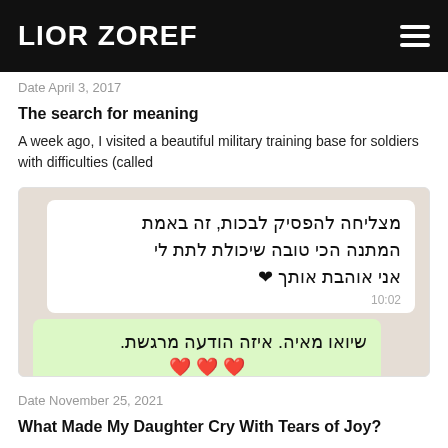LIOR ZOREF
Date April 3, 2017
The search for meaning
A week ago, I visited a beautiful military training base for soldiers with difficulties (called
[Figure (screenshot): WhatsApp chat screenshot showing Hebrew text messages. Right bubble: מצליחה להפסיק לבכות, זה באמת המתנה הכי טובה שיכולת לתת לי אני אוהבת אותך ❤ (10:02). Left bubble: שיואו מאיה. איזה הודעה מרגשת.]
Date November 25, 2021
What Made My Daughter Cry With Tears of Joy?
A few days ago I received this message from my daughter, Maya: "Daddy, I just read the book I